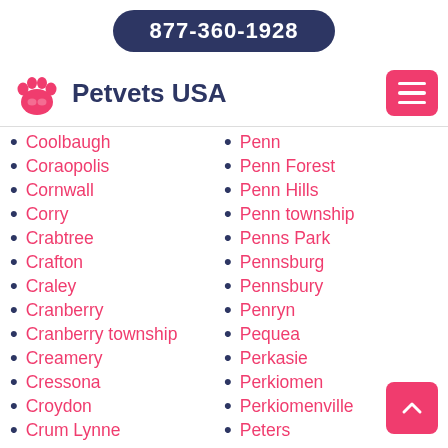877-360-1928
[Figure (logo): Petvets USA logo with pink paw print and dark blue text, plus hamburger menu button]
Coolbaugh
Coraopolis
Cornwall
Corry
Crabtree
Crafton
Craley
Cranberry
Cranberry township
Creamery
Cressona
Croydon
Crum Lynne
Penn
Penn Forest
Penn Hills
Penn township
Penns Park
Pennsburg
Pennsbury
Penryn
Pequea
Perkasie
Perkiomen
Perkiomenville
Peters